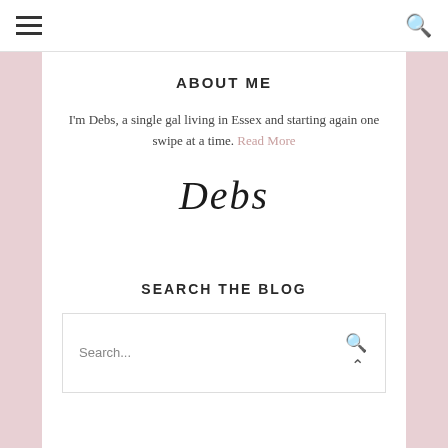Navigation bar with hamburger menu and search icon
ABOUT ME
I'm Debs, a single gal living in Essex and starting again one swipe at a time. Read More
[Figure (illustration): Handwritten cursive signature reading 'Debs']
SEARCH THE BLOG
Search...